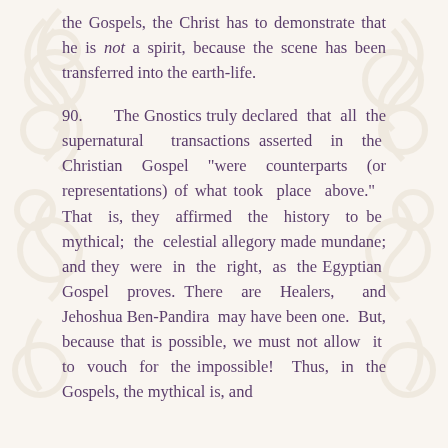the Gospels, the Christ has to demonstrate that he is not a spirit, because the scene has been transferred into the earth-life.
90.     The Gnostics truly declared that all the supernatural transactions asserted in the Christian Gospel "were counterparts (or representations) of what took place above."  That is, they affirmed the history to be mythical; the celestial allegory made mundane; and they were in the right, as the Egyptian Gospel proves. There are Healers, and Jehoshua Ben-Pandira may have been one. But, because that is possible, we must not allow it to vouch for the impossible!  Thus, in the Gospels, the mythical is, and